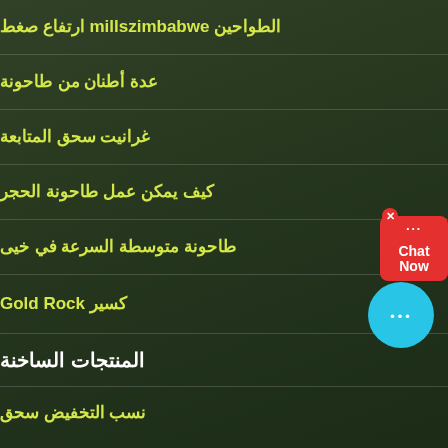الطواحين millszimbabwe ارتفاع صغط
عدة أطنان من طاحونة
غرانيت سحق المتابعة
كيف يمكن عمل طاحونة الحجر
طاحونة متوسطة السرعة في خيى
كسير Gold Rock
المنتجات الساخنة
نسب التخفيض سحق